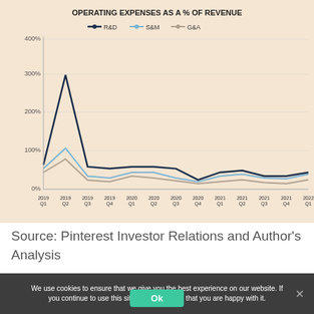[Figure (line-chart): OPERATING EXPENSES AS A % OF REVENUE]
Source: Pinterest Investor Relations and Author's Analysis
We use cookies to ensure that we give you the best experience on our website. If you continue to use this site we will assume that you are happy with it.